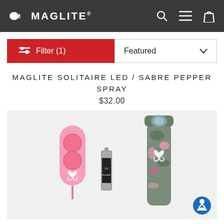MAGLITE
Filter (1)
Featured
MAGLITE SOLITAIRE LED / SABRE PEPPER SPRAY
$32.00
[Figure (photo): Product photo showing a pink pepper spray device with breast cancer awareness ribbon, an AA Energizer battery, and a pink camo patterned Maglite flashlight with ribbon design, displayed on a light gray background.]